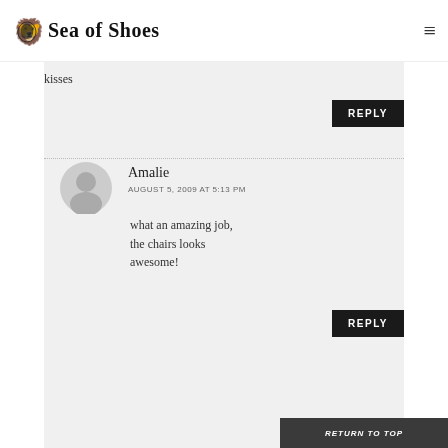Sea of Shoes
kisses
REPLY
Amalie
AUGUST 5, 2009 AT 5:13 PM
what an amazing job, the chairs looks awesome!
REPLY
RETURN TO TOP